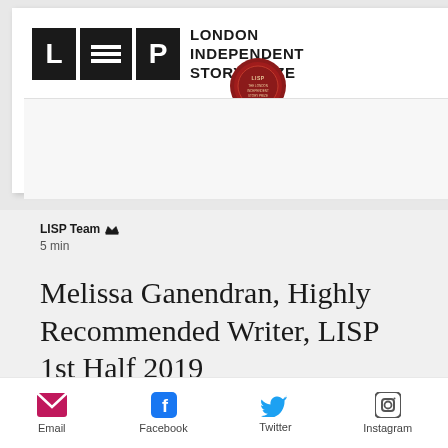[Figure (logo): London Independent Story Prize logo with red wax seal badge]
LISP Team 👑
5 min
Melissa Ganendran, Highly Recommended Writer, LISP 1st Half 2019
[Figure (infographic): Social sharing icons: Email, Facebook, Twitter, Instagram]